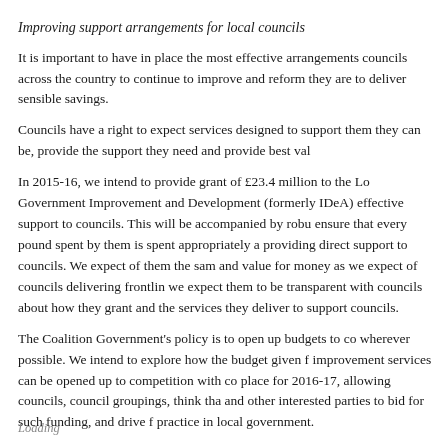Improving support arrangements for local councils
It is important to have in place the most effective arrangements councils across the country to continue to improve and reform they are to deliver sensible savings.
Councils have a right to expect services designed to support them they can be, provide the support they need and provide best val
In 2015-16, we intend to provide grant of £23.4 million to the Lo Government Improvement and Development (formerly IDeA) effective support to councils. This will be accompanied by robu ensure that every pound spent by them is spent appropriately a providing direct support to councils. We expect of them the sam and value for money as we expect of councils delivering frontlin we expect them to be transparent with councils about how they grant and the services they deliver to support councils.
The Coalition Government's policy is to open up budgets to co wherever possible. We intend to explore how the budget given f improvement services can be opened up to competition with co place for 2016-17, allowing councils, council groupings, think tha and other interested parties to bid for such funding, and drive f practice in local government.
Loading